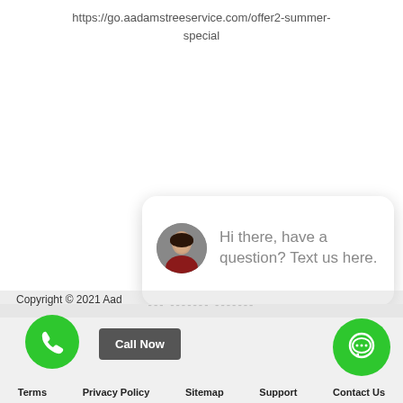https://go.aadamstreeservice.com/offer2-summer-special
[Figure (screenshot): Chat popup with avatar of a woman in red and text 'Hi there, have a question? Text us here.']
close
Copyright © 2021 Aad...
[Figure (infographic): Green phone call button, 'Call Now' gray button, green chat icon button]
Terms  Privacy Policy  Sitemap  Support  Contact Us